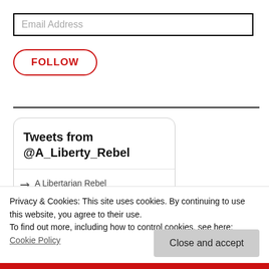Email Address
FOLLOW
[Figure (screenshot): Twitter/X embedded widget showing 'Tweets from @A_Liberty_Rebel' header and a retweet entry by 'A Libertarian Rebel (preferred pronouns: ...']
Privacy & Cookies: This site uses cookies. By continuing to use this website, you agree to their use.
To find out more, including how to control cookies, see here: Cookie Policy
Close and accept